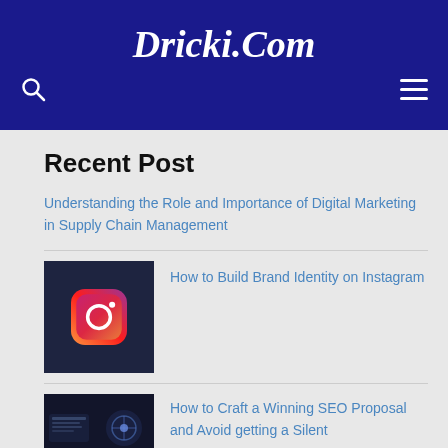Dricki.Com
Recent Post
Understanding the Role and Importance of Digital Marketing in Supply Chain Management
How to Build Brand Identity on Instagram
How to Craft a Winning SEO Proposal and Avoid getting a Silent